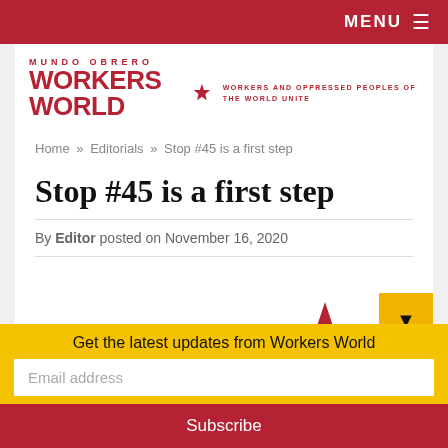MENU ≡
[Figure (logo): Workers World / Mundo Obrero logo with red star and tagline: WORKERS AND OPPRESSED PEOPLES OF THE WORLD UNITE]
Home » Editorials » Stop #45 is a first step
Stop #45 is a first step
By Editor posted on November 16, 2020
Get the latest updates from Workers World
Email address
Subscribe